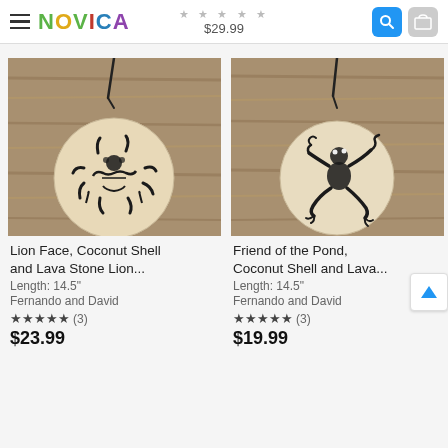NOVICA — $29.99
[Figure (photo): Lion Face coconut shell and lava stone pendant necklace on wooden background]
Lion Face, Coconut Shell and Lava Stone Lion...
Length: 14.5"
Fernando and David
★★★★★ (3)
$23.99
[Figure (photo): Friend of the Pond coconut shell and lava stone frog pendant necklace on wooden background]
Friend of the Pond, Coconut Shell and Lava...
Length: 14.5"
Fernando and David
★★★★★ (3)
$19.99